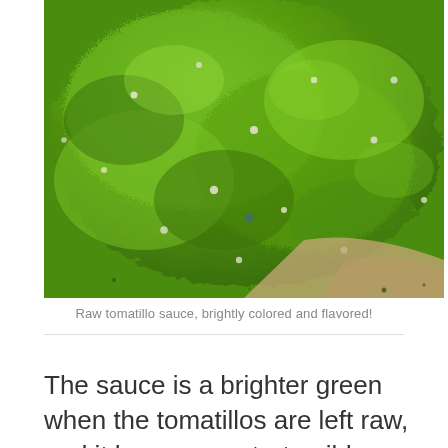[Figure (photo): Close-up photo of raw tomatillo sauce, showing bright green chunky texture with small white seeds visible on and around a light beige surface.]
Raw tomatillo sauce, brightly colored and flavored!
The sauce is a brighter green when the tomatillos are left raw, and it has a more tart, mild vinegar flavor, but it's still really,